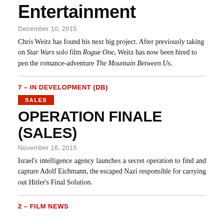Entertainment
December 10, 2015
Chris Weitz has found his next big project. After previously taking on Star Wars solo film Rogue One, Weitz has now been hired to pen the romance-adventure The Mountain Between Us.
7 – IN DEVELOPMENT (DB)
SALES
OPERATION FINALE (SALES)
November 16, 2015
Israel's intelligence agency launches a secret operation to find and capture Adolf Eichmann, the escaped Nazi responsible for carrying out Hitler's Final Solution.
2 – FILM NEWS